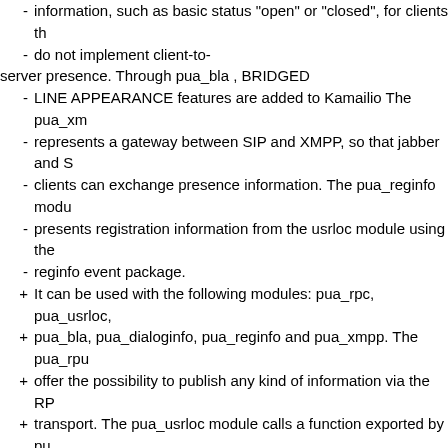- information, such as basic status "open" or "closed", for clients th
- do not implement client-to-
server presence. Through pua_bla , BRIDGED
- LINE APPEARANCE features are added to Kamailio The pua_xm
- represents a gateway between SIP and XMPP, so that jabber and S
- clients can exchange presence information. The pua_reginfo modu
- presents registration information from the usrloc module using the
- reginfo event package.
+ It can be used with the following modules: pua_rpc, pua_usrloc,
+ pua_bla, pua_dialoginfo, pua_reginfo and pua_xmpp. The pua_rpu
+ offer the possibility to publish any kind of information via the RP
+ transport. The pua_usrloc module calls a function exported by pu
+ modules to publish elementary presence information, such as basi
+ status "open" or "closed", for clients that do not implement
+ client-to-
server presence. Through pua_bla , BRIDGED LINE APPEARANC
+ features are added to Kamailio The pua_xmpp module represents
+ between SIP and XMPP, so that jabber and SIP clients can exchan
+ presence information. The pua_reginfo modules presents registrat
+ information from the usrloc module using the reginfo event packa
The module supports 2 modes of operation. In the first a cache is u to store the presentity list and writes to database on timer to be abl
Kamailio SIP Server
RSS Atom